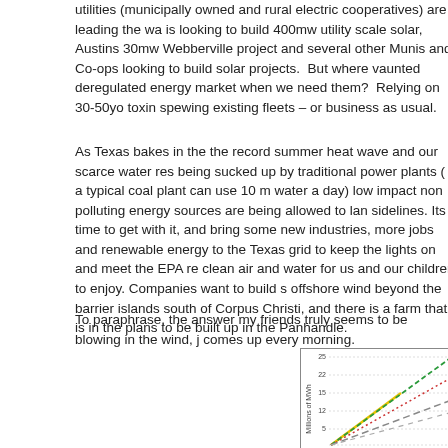utilities (municipally owned and rural electric cooperatives) are leading the way is looking to build 400mw utility scale solar, Austins 30mw Webberville project and several other Munis and Co-ops looking to build solar projects.  But where vaunted deregulated energy market when we need them?  Relying on 30-50yo toxin spewing existing fleets – or business as usual.
As Texas bakes in the the record summer heat wave and our scarce water res being sucked up by traditional power plants ( a typical coal plant can use 10 m water a day) low impact non polluting energy sources are being allowed to lan sidelines. Its time to get with it, and bring some new industries, more jobs and renewable energy to the Texas grid to keep the lights on and meet the EPA re clean air and water for us and our children to enjoy. Companies want to build s offshore wind beyond the barrier islands south of Corpus Christi, and there is a farm that is in the plans to be built up in the Panhandle.
To paraphrase, the answer my friends truly seems to be blowing in the wind, j comes up every morning.
Read Full Post »
[Figure (line-chart): Line chart showing multiple trend lines (yellow solid, green dashed, red dotted, gray dashed) rising over time with y-axis labeled Millions of MWh, values visible around 5, 12, 15, 22, 25]